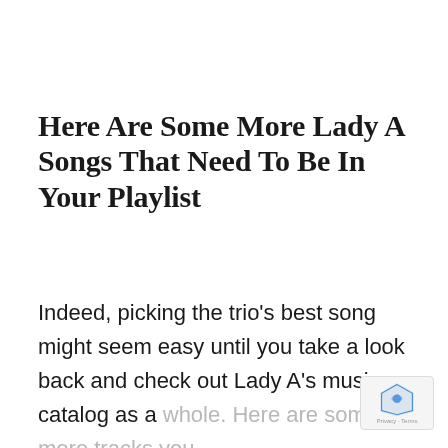Here Are Some More Lady A Songs That Need To Be In Your Playlist
Indeed, picking the trio's best song might seem easy until you take a look back and check out Lady A's music catalog as a whole. Here are some more tracks you need to know.